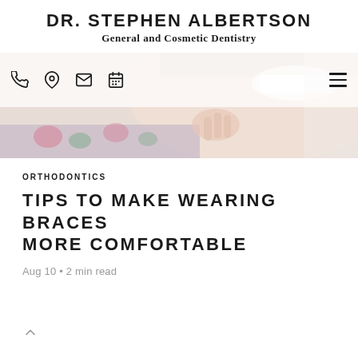DR. STEPHEN ALBERTSON
General and Cosmetic Dentistry
[Figure (photo): Hero image of a smiling woman with floral clothing, partially obscured by a semi-transparent navigation bar with phone, location, email, and calendar icons on the left and a hamburger menu on the right]
ORTHODONTICS
TIPS TO MAKE WEARING BRACES MORE COMFORTABLE
Aug 10 • 2 min read